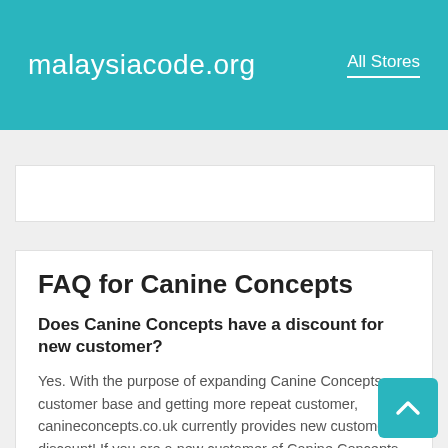malaysiacode.org   All Stores
FAQ for Canine Concepts
Does Canine Concepts have a discount for new customer?
Yes. With the purpose of expanding Canine Concepts customer base and getting more repeat customer, canineconcepts.co.uk currently provides new customer discount! If you are a new customer of Canine Concepts, you can enjoy this special discounts. Just browse canineconcepts.co.uk and collect Coupon Code to enjoy exclusive Canine